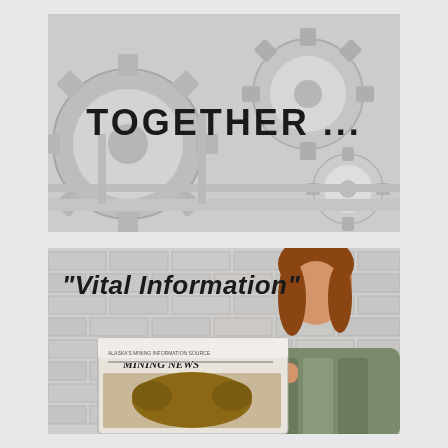[Figure (photo): Photo of interlocking silver metallic gears with the bold text 'TOGETHER ...' overlaid in the center]
[Figure (photo): Photo of a young woman with red/auburn hair reading a newspaper titled 'Mining News', seated against a white brick wall background, with the bold italic text '"Vital Information"' overlaid in the upper left]